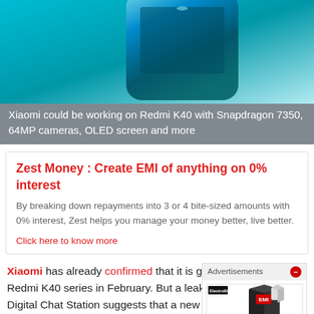[Figure (photo): Hero image of a Xiaomi Redmi phone in teal/blue color against cyan background]
Xiaomi could be working on Redmi K40 with Snapdragon 7350, 64MP cameras, OLED screen and more
Zest Money : Create EMI of anything on 0% interest
By breaking down repayments into 3 or 4 bite-sized amounts with 0% interest, Zest helps you manage your money better, live better.
Click here to know more
Xiaomi has already confirmed that it is going to launch the Redmi K40 series in February. But a leak by popular tipster Digital Chat Station suggests that a new mid-range smartphone could be in development with the yet-unannounced Qualcomm Snapdragon 7350 processor. The K40 series is expected to consist of the Redmi K40 and Redmi
[Figure (screenshot): Advertisement overlay showing appliances/electronics products with Advertisements header and close button]